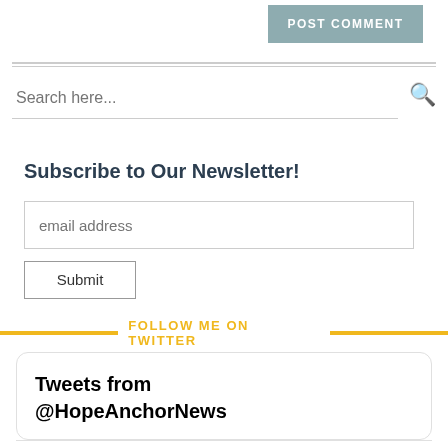[Figure (screenshot): POST COMMENT button in teal/grey color]
Search here...
Subscribe to Our Newsletter!
email address
Submit
FOLLOW ME ON TWITTER
Tweets from @HopeAnchorNews